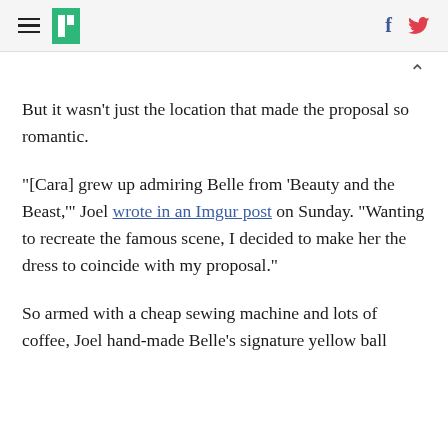HuffPost navigation header with hamburger menu, logo, Facebook and Twitter icons
But it wasn't just the location that made the proposal so romantic.
“[Cara] grew up admiring Belle from ‘Beauty and the Beast,’” Joel wrote in an Imgur post on Sunday. “Wanting to recreate the famous scene, I decided to make her the dress to coincide with my proposal.”
So armed with a cheap sewing machine and lots of coffee, Joel hand-made Belle’s signature yellow ball